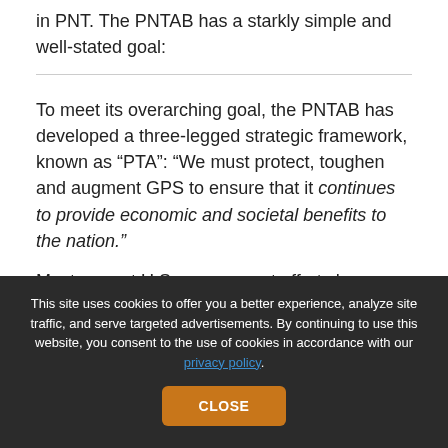in PNT. The PNTAB has a starkly simple and well-stated goal:
To meet its overarching goal, the PNTAB has developed a three-legged strategic framework, known as “PTA”: “We must protect, toughen and augment GPS to ensure that it continues to provide economic and societal benefits to the nation.”
Most current U.S. government efforts have been
This site uses cookies to offer you a better experience, analyze site traffic, and serve targeted advertisements. By continuing to use this website, you consent to the use of cookies in accordance with our privacy policy.